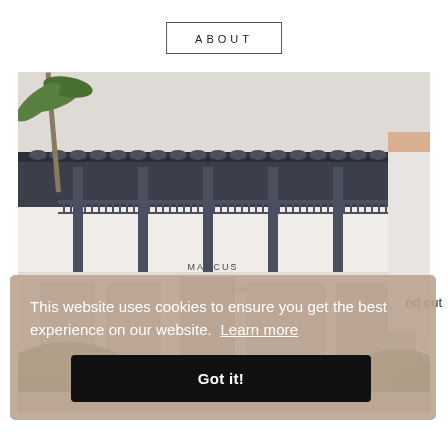ABOUT
[Figure (photo): Exterior photo of a two-story white building with dark blue/grey columns and railings, a Spanish tile roof, and storefront signs reading 'MARCUS' and address '1155'. Palm trees and green hedges visible in foreground.]
This website uses cookies to ensure you get the best experience on our website.  Learn more
Got it!
nd out